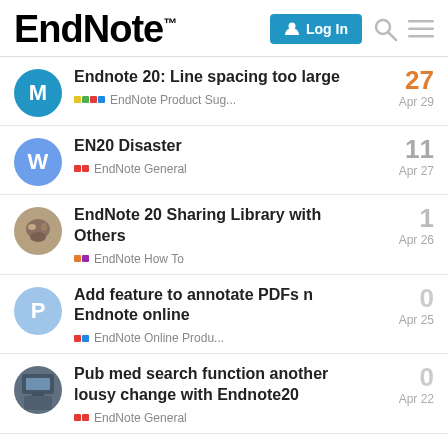EndNote™ | Log In
Endnote 20: Line spacing too large | EndNote Product Sug... | 27 | Apr 29
EN20 Disaster | EndNote General | 11 | Apr 27
EndNote 20 Sharing Library with Others | EndNote How To | 1 | Apr 26
Add feature to annotate PDFs n Endnote online | EndNote Online Produ... | 0 | Apr 25
Pub med search function another lousy change with Endnote20 | EndNote General | 0 | Apr 22